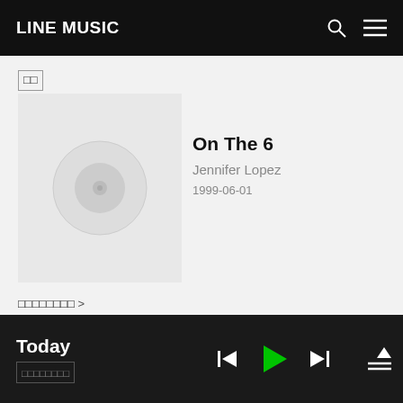LINE MUSIC
□□
[Figure (screenshot): Album art placeholder for 'On The 6' by Jennifer Lopez — light gray square with a faint circular disc icon in center]
On The 6
Jennifer Lopez
1999-06-01
□□□□□□□□ >
[Figure (screenshot): Thumbnail strip showing purple tile, dark photo tiles at bottom of page]
Today | □□□□□□□□